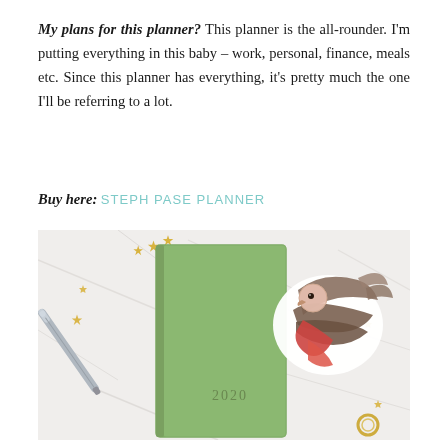My plans for this planner? This planner is the all-rounder. I'm putting everything in this baby – work, personal, finance, meals etc. Since this planner has everything, it's pretty much the one I'll be referring to a lot.
Buy here: STEPH PASE PLANNER
[Figure (photo): A green 2020 planner/diary on a white marble surface with gold star confetti, a silver pen on the left, a bird (galah/cockatoo) sticker on the right with spread wings in brown, grey and red/pink colors, and a gold keyring in the bottom right corner.]